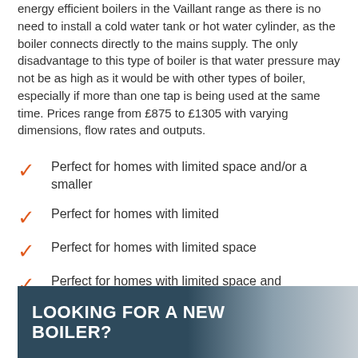energy efficient boilers in the Vaillant range as there is no need to install a cold water tank or hot water cylinder, as the boiler connects directly to the mains supply. The only disadvantage to this type of boiler is that water pressure may not be as high as it would be with other types of boiler, especially if more than one tap is being used at the same time. Prices range from £875 to £1305 with varying dimensions, flow rates and outputs.
Perfect for homes with limited space and/or a smaller
Perfect for homes with limited
Perfect for homes with limited space
Perfect for homes with limited space and
LOOKING FOR A NEW BOILER?